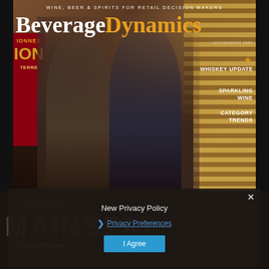[Figure (photo): Cover of Beverage Dynamics magazine, July/August 2022. Two men in suits stand in front of a wine rack. Left man has gray hair and glasses in a gray suit with patterned tie. Right man has white hair and beard, glasses, in a navy pinstripe suit with colorful tie. Magazine cover text includes tagline, logo, date, and feature topics.]
WINE, BEER & SPIRITS FOR RETAIL DECISION MAKERS
Beverage Dynamics
JULY/AUGUST 2022
+ WHISKEY UPDATE
SPARKLING WINE
CATEGORY TRENDS
A Connecticut
MAINSTAY
Profile of W & B Liquors
New Privacy Policy
Privacy Preferences
I Agree